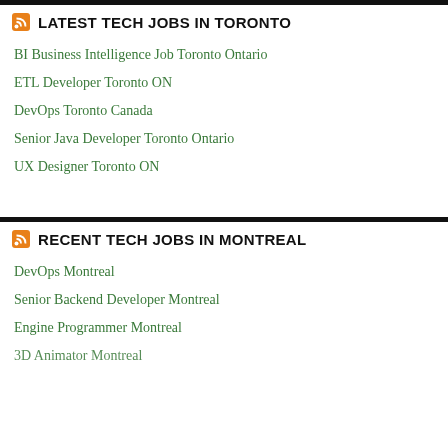LATEST TECH JOBS IN TORONTO
BI Business Intelligence Job Toronto Ontario
ETL Developer Toronto ON
DevOps Toronto Canada
Senior Java Developer Toronto Ontario
UX Designer Toronto ON
RECENT TECH JOBS IN MONTREAL
DevOps Montreal
Senior Backend Developer Montreal
Engine Programmer Montreal
3D Animator Montreal